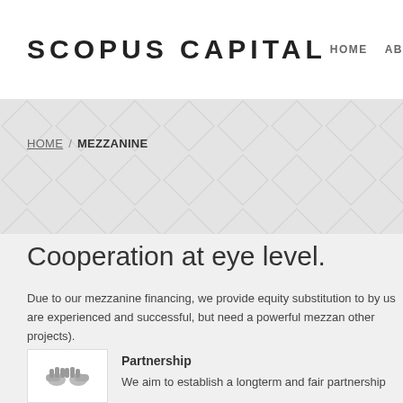SCOPUS CAPITAL   HOME  AB
[Figure (other): Decorative diamond/chevron pattern background in light grey for the banner area]
HOME / MEZZANINE
Cooperation at eye level.
Due to our mezzanine financing, we provide equity substitution to by us are experienced and successful, but need a powerful mezzan other projects).
Partnership
We aim to establish a longterm and fair partnership